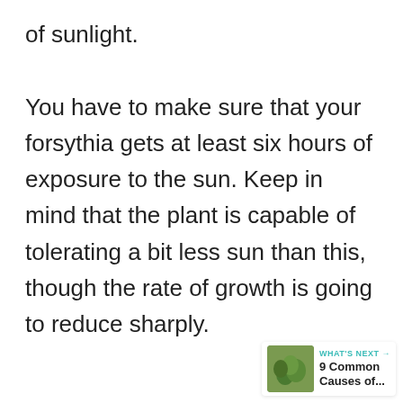of sunlight.

You have to make sure that your forsythia gets at least six hours of exposure to the sun. Keep in mind that the plant is capable of tolerating a bit less sun than this, though the rate of growth is going to reduce sharply.
[Figure (other): Heart/like button (teal circle with heart icon) with count of 2, and a share button below it]
[Figure (other): WHAT'S NEXT widget showing a thumbnail of green plants and the text '9 Common Causes of...']